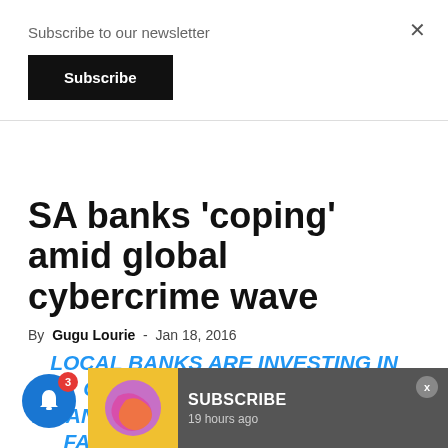Subscribe to our newsletter
Subscribe
SA banks 'coping' amid global cybercrime wave
By Gugu Lourie - Jan 18, 2016
LOCAL BANKS ARE INVESTING IN CYBERCRIME DEFENCE AS FINANCIAL INSTITUTIONS GLOBALLY FACE AN INCREASING TREND OF CYBER THEFT, AN INTERNATIONAL SURVEY HAS
[Figure (screenshot): Subscribe push notification popup with logo and '19 hours ago' timestamp]
[Figure (screenshot): Blue push notification bell icon with red badge showing number 3]